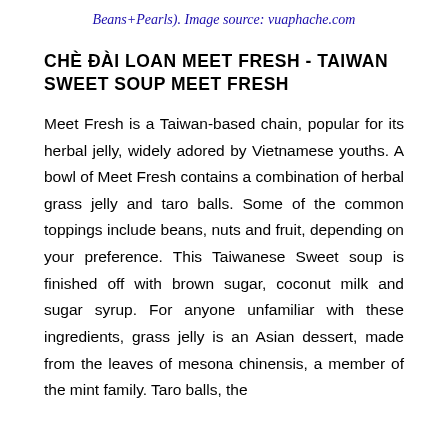Beans+Pearls). Image source: vuaphache.com
CHÈ ĐÀI LOAN MEET FRESH - TAIWAN SWEET SOUP MEET FRESH
Meet Fresh is a Taiwan-based chain, popular for its herbal jelly, widely adored by Vietnamese youths. A bowl of Meet Fresh contains a combination of herbal grass jelly and taro balls. Some of the common toppings include beans, nuts and fruit, depending on your preference. This Taiwanese Sweet soup is finished off with brown sugar, coconut milk and sugar syrup. For anyone unfamiliar with these ingredients, grass jelly is an Asian dessert, made from the leaves of mesona chinensis, a member of the mint family. Taro balls, the